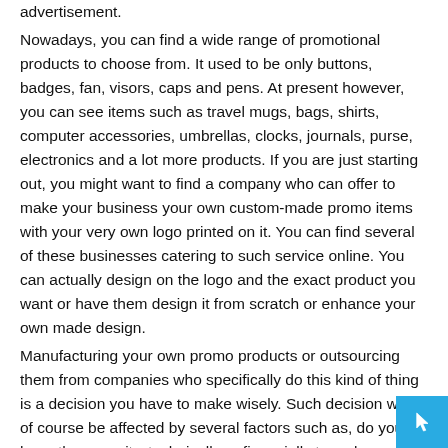advertisement.
Nowadays, you can find a wide range of promotional products to choose from. It used to be only buttons, badges, fan, visors, caps and pens. At present however, you can see items such as travel mugs, bags, shirts, computer accessories, umbrellas, clocks, journals, purse, electronics and a lot more products. If you are just starting out, you might want to find a company who can offer to make your business your own custom-made promo items with your very own logo printed on it. You can find several of these businesses catering to such service online. You can actually design on the logo and the exact product you want or have them design it from scratch or enhance your own made design.
Manufacturing your own promo products or outsourcing them from companies who specifically do this kind of thing is a decision you have to make wisely. Such decision would of course be affected by several factors such as, do you have the capacity, technically or financially to make your own promo